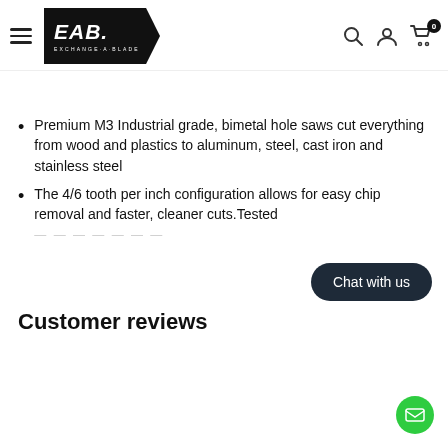EAB Exchange-A-Blade navigation header with logo, search, account, and cart icons
Premium M3 Industrial grade, bimetal hole saws cut everything from wood and plastics to aluminum, steel, cast iron and stainless steel
The 4/6 tooth per inch configuration allows for easy chip removal and faster, cleaner cuts.Tested … (truncated)
Chat with us
Customer reviews